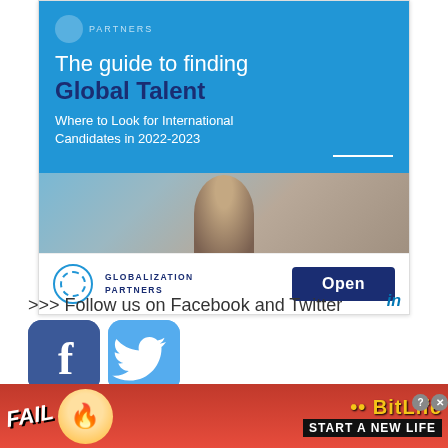[Figure (screenshot): LinkedIn advertisement for Globalization Partners guide titled 'The guide to finding Global Talent - Where to Look for International Candidates in 2022-2023', with a blue header section, photo of people, Globalization Partners logo, and an 'Open' button]
>>> Follow us on Facebook and Twitter
[Figure (logo): Facebook logo icon - blue square with rounded corners and white 'f']
[Figure (logo): Twitter logo icon - light blue square with rounded corners and white bird]
[Figure (infographic): Infolinks bar label in dark blue]
[Figure (infographic): Bottom advertisement banner for BitLife game showing 'FAIL' text, emoji, flames, BitLife logo and 'START A NEW LIFE' text on red/orange background]